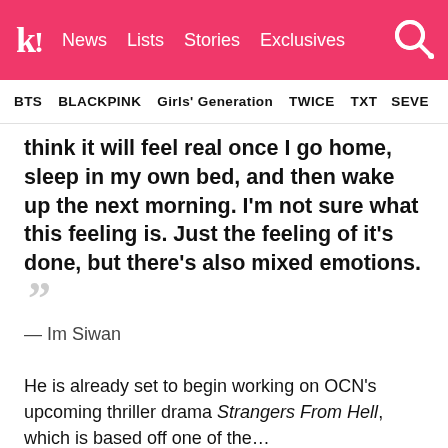k! News  Lists  Stories  Exclusives
BTS  BLACKPINK  Girls' Generation  TWICE  TXT  SEVE…
think it will feel real once I go home, sleep in my own bed, and then wake up the next morning. I'm not sure what this feeling is. Just the feeling of it's done, but there's also mixed emotions.
— Im Siwan
He is already set to begin working on OCN's upcoming thriller drama Strangers From Hell, which is based off one of the…